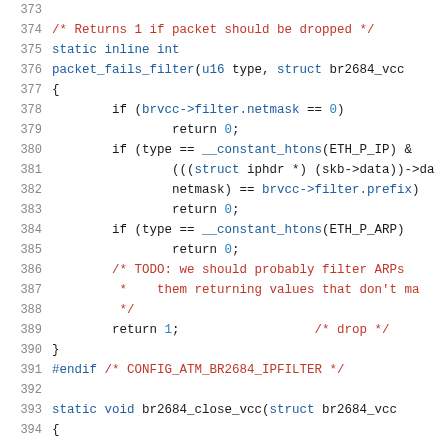[Figure (screenshot): Source code listing showing C code for packet_fails_filter function, lines 373-394, with syntax highlighting: line numbers in gray, keywords/identifiers in blue, comments in red, punctuation in dark.]